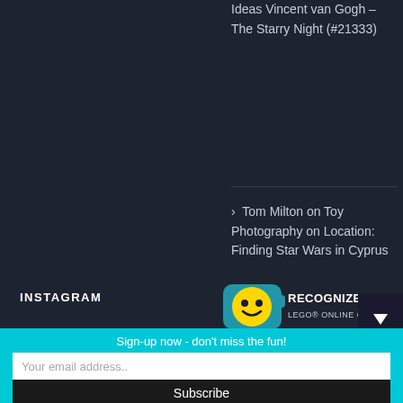Ideas Vincent van Gogh – The Starry Night (#21333)
> Tom Milton on Toy Photography on Location: Finding Star Wars in Cyprus
INSTAGRAM
[Figure (logo): LEGO Recognized LEGO Online Community badge with yellow minifigure head]
Sign-up now - don't miss the fun!
Your email address..
Subscribe